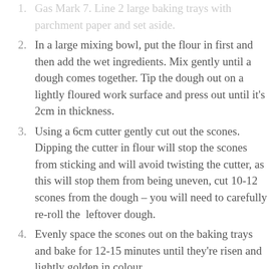1. Preheat oven to 220°C/ 200°C fan/ 425°F/ Gas Mark 7. Line 2 large baking trays with parchment paper and set aside.
2. In a large mixing bowl, put the flour in first and then add the wet ingredients. Mix gently until a dough comes together. Tip the dough out on a lightly floured work surface and press out until it's 2cm in thickness.
3. Using a 6cm cutter gently cut out the scones. Dipping the cutter in flour will stop the scones from sticking and will avoid twisting the cutter, as this will stop them from being uneven, cut 10-12 scones from the dough – you will need to carefully re-roll the  leftover dough.
4. Evenly space the scones out on the baking trays and bake for 12-15 minutes until they're risen and lightly golden in colour.
5. Transport the scones to a wire rack and allow